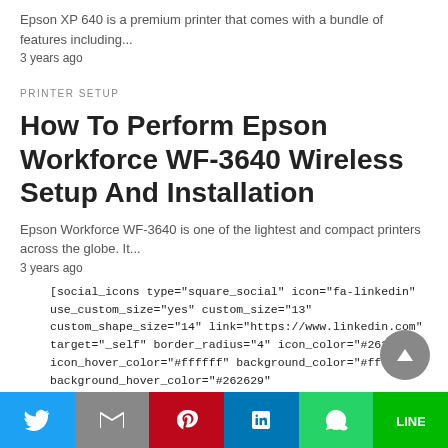Epson XP 640 is a premium printer that comes with a bundle of features including...
3 years ago
PRINTER SETUP
How To Perform Epson Workforce WF-3640 Wireless Setup And Installation
Epson Workforce WF-3640 is one of the lightest and compact printers across the globe. It...
3 years ago
[social_icons type="square_social" icon="fa-linkedin" use_custom_size="yes" custom_size="13" custom_shape_size="14" link="https://www.linkedin.com" target="_self" border_radius="4" icon_color="#262629" icon_hover_color="#ffffff" background_color="#ffda7c" background_hover_color="#262629" background_color_transparency="1" border_widths="0"